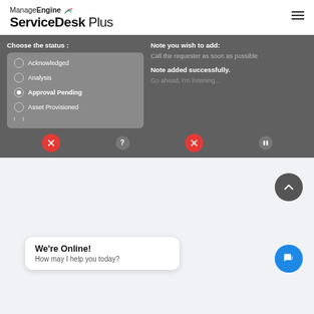[Figure (screenshot): ManageEngine ServiceDesk Plus logo and hamburger menu in white header]
[Figure (screenshot): ServiceDesk Plus interface showing 'Choose the status' radio list (Acknowledged, Analysis, Approval Pending selected, Asset Provisioned) and 'Note you wish to add' panel with text 'Call the requester as soon as possible', 'Note added successfully.', and 'Go ahead, I'm listening...' placeholder. Two red X buttons and gray icon buttons at bottom.]
We're Online!
How may I help you today?